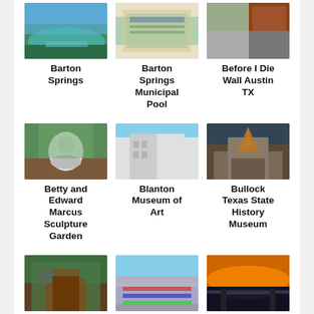[Figure (photo): Barton Springs natural swimming hole with green water and trees]
Barton Springs
[Figure (photo): Barton Springs Municipal Pool map/sign]
Barton Springs Municipal Pool
[Figure (photo): Before I Die Wall Austin TX building]
Before I Die Wall Austin TX
[Figure (photo): Betty and Edward Marcus Sculpture Garden with rabbit sculpture]
Betty and Edward Marcus Sculpture Garden
[Figure (photo): Blanton Museum of Art modern white building]
Blanton Museum of Art
[Figure (photo): Bullock Texas State History Museum with large star sculpture]
Bullock Texas State History Museum
[Figure (photo): Cathedral of... (partial)]
Cathedral of
[Figure (photo): Circuit of... aerial view (partial)]
Circuit of
[Figure (photo): Congress bridge at sunset]
Congress